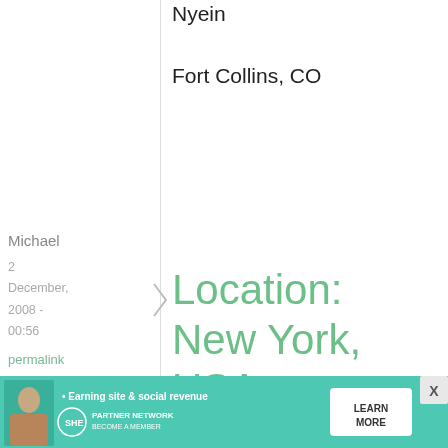Nyein
Fort Collins, CO
Michael
2 December, 2008 - 00:56
permalink
Location: New York, USA
Michael, from New York, USA!
Nikki
• Earning site & social revenue  SHE PARTNER NETWORK BECOME A MEMBER  LEARN MORE  X